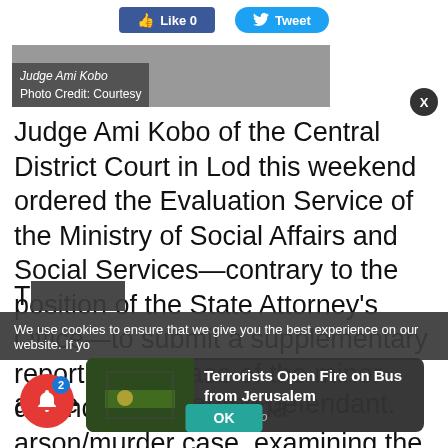[Figure (other): Social media buttons: Like 0 (Facebook) and Tweet (Twitter)]
[Figure (photo): Photo of Judge Ami Kobo. Photo Credit: Courtesy]
Judge Ami Kobo of the Central District Court in Lod this weekend ordered the Evaluation Service of the Ministry of Social Affairs and Social Services—contrary to the position of the State Attorney's Office—to submit a supplementary report on the case of the minor defendant in the Duma arson/murder case, examining the possibility of his release to house arrest.
The judge instructed ... ankle monitor for the defendant.
We use cookies to ensure that we give you the best experience on our website. If yo...
[Figure (screenshot): Notification popup: Terrorists Open Fire on Bus from Jerusalem, 2 hours ago]